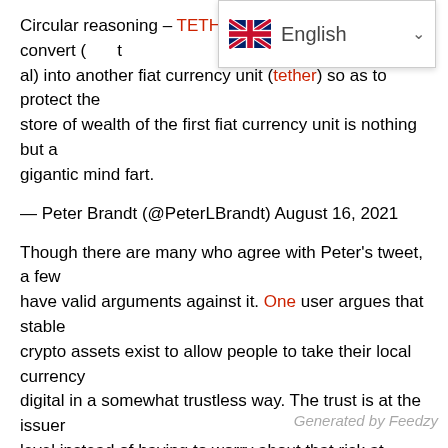Circular reasoning – TETH[…] The idea that we convert (…al) into another fiat currency unit (tether) so as to protect the store of wealth of the first fiat currency unit is nothing but a gigantic mind fart.
[Figure (screenshot): English language selector dropdown overlay with UK flag]
— Peter Brandt (@PeterLBrandt) August 16, 2021
Though there are many who agree with Peter's tweet, a few have valid arguments against it. One user argues that stable crypto assets exist to allow people to take their local currency digital in a somewhat trustless way. The trust is at the issuer level instead of having to worry about that risk at every digital platform one might use.
Related Reading | Peter Brandt: 99% of Altcoins Will Be Forgotten in Five Years
Another Twitter user argues that no one really converts traditional fiat into stablecoin to protect their store of wealth,
Generated by Feedzy